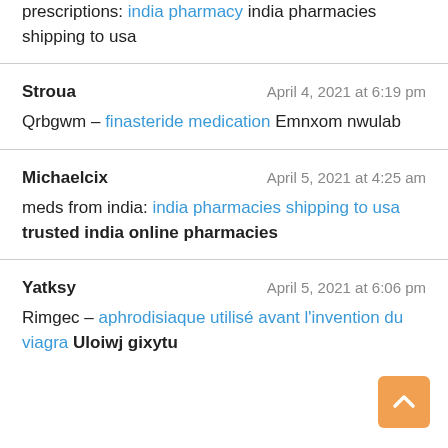prescriptions: india pharmacy india pharmacies shipping to usa
Stroua    April 4, 2021 at 6:19 pm
Qrbgwm – finasteride medication Emnxom nwulab
Michaelcix    April 5, 2021 at 4:25 am
meds from india: india pharmacies shipping to usa trusted india online pharmacies
Yatksy    April 5, 2021 at 6:06 pm
Rimgec – aphrodisiaque utilisé avant l'invention du viagra Uloiwj gixytu